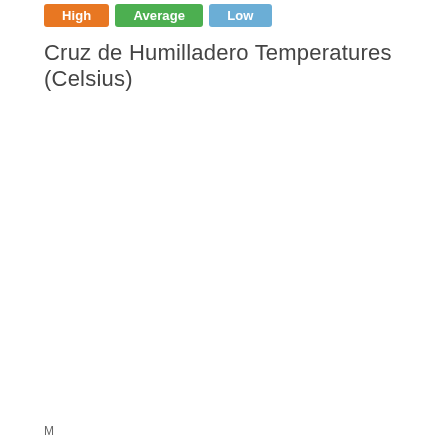[Figure (grouped-bar-chart): Cruz de Humilladero Temperatures (Celsius)]